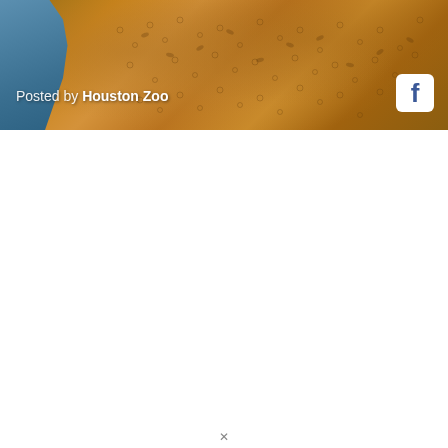[Figure (photo): A Facebook post banner showing a close-up photo of a furry brown animal (likely a bear or similar zoo animal) being handled by someone wearing blue gloves. The image has a 'Posted by Houston Zoo' label overlaid in the lower left, and a white Facebook icon in the lower right corner.]